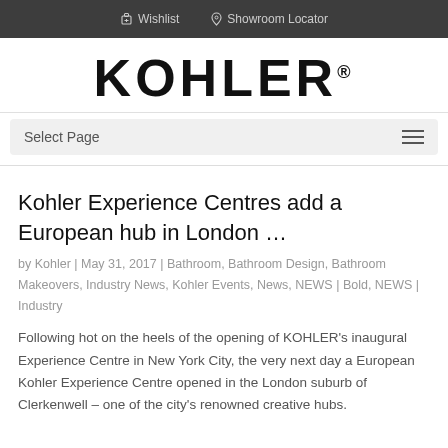Wishlist   Showroom Locator
KOHLER®
Select Page
Kohler Experience Centres add a European hub in London …
by Kohler | May 31, 2017 | Bathroom, Bathroom Design, Bathroom Makeovers, Industry News, Kohler Events, News, NEWS | Bold, NEWS | Industry
Following hot on the heels of the opening of KOHLER's inaugural Experience Centre in New York City, the very next day a European Kohler Experience Centre opened in the London suburb of Clerkenwell – one of the city's renowned creative hubs.